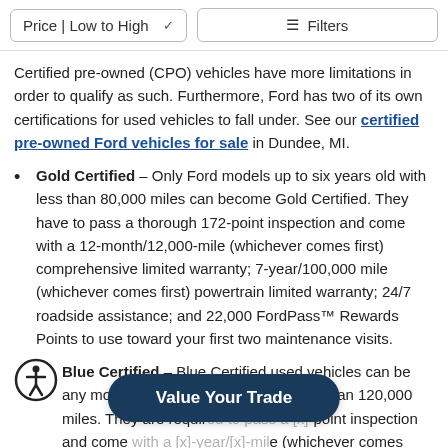Price | Low to High   Filters
Certified pre-owned (CPO) vehicles have more limitations in order to qualify as such. Furthermore, Ford has two of its own certifications for used vehicles to fall under. See our certified pre-owned Ford vehicles for sale in Dundee, MI.
Gold Certified – Only Ford models up to six years old with less than 80,000 miles can become Gold Certified. They have to pass a thorough 172-point inspection and come with a 12-month/12,000-mile (whichever comes first) comprehensive limited warranty; 7-year/100,000 mile (whichever comes first) powertrain limited warranty; 24/7 roadside assistance; and 22,000 FordPass™ Rewards Points to use toward your first two maintenance visits.
Blue Certified – Blue Certified used vehicles can be any model up to ten years old with less than 120,000 miles. They are required to pass a [x]-point inspection and come with a [x]-year/[x]-mile (whichever comes first) comprehensive limited
[Figure (other): Value Your Trade dark blue pill-shaped overlay button]